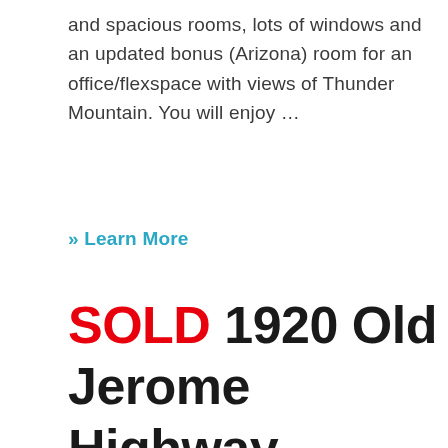and spacious rooms, lots of windows and an updated bonus (Arizona) room for an office/flexspace with views of Thunder Mountain. You will enjoy …
» Learn More
SOLD 1920 Old Jerome Highway, Sedona, AZ